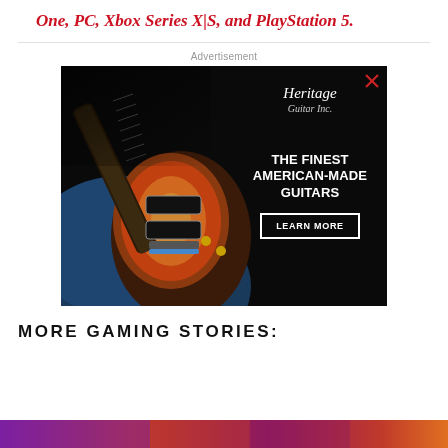One, PC, Xbox Series X|S, and PlayStation 5.
[Figure (photo): Heritage Guitar Inc. advertisement featuring a sunburst Les Paul-style electric guitar in a case on a dark background. Text reads: Heritage Guitar Inc. / THE FINEST AMERICAN-MADE GUITARS / LEARN MORE button.]
MORE GAMING STORIES:
[Figure (photo): Colorful bottom strip image, partial view of a gaming-related image.]